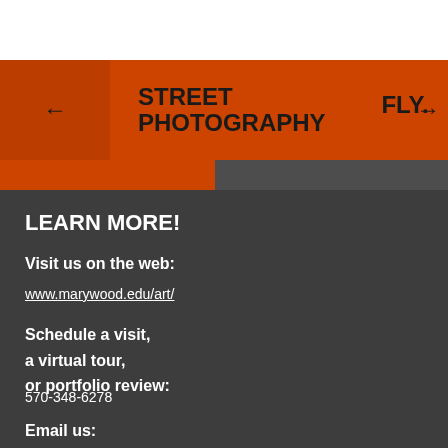← STREET PHOTOGRAPHY    FLY.    →
LEARN MORE!
Visit us on the web:
www.marywood.edu/art/
Schedule a visit,
a virtual tour,
or portfolio review:
570-348-6278
Email us: